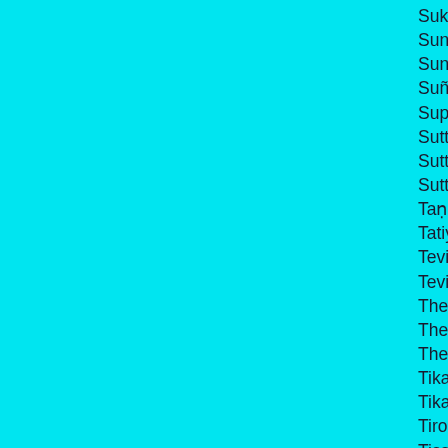Sukha Vagga SP KN Dhp 15
Sunakkhatta Sutta SP MN 105
Sundarikabhāradvāja Sutta SP KN Sn 30
Suññata Vagga SP MN
Supaṇṇa Saṃyutta SP SN 30
Suttanipāta SP KN
Sutta Piṭaka SP 2nd of the 3 Piṭakas
Suttavibhaṅga VP
Taṇhā Vagga SP KN Dhp 24
Tatiya Vagga SP M
Tevijja Sutta SP DN 13
Tevijjāvacchagotta Sutta SP MN 71
Theragāthā SP KN
Therapañha Sutta [10] SP KN Sn 54
Therīgāthā SP KN
Tika Nipāta SP AN 3
Tika Nipāta SP KN It 3
Tirokuḍḍa Sutta SP KN Khp 7
Tissametteyya Sutta SP KN Sn 45
Tissametteyyamāṇava Pucchā SP KN Sn 5
Todeyyamāṇava Pucchā SP KN Sn 63
Tuvaṭaka Sutta SP KN Sn 52
Udāna SP KN
Udayamāṇava Pucchā SP KN Sn 67